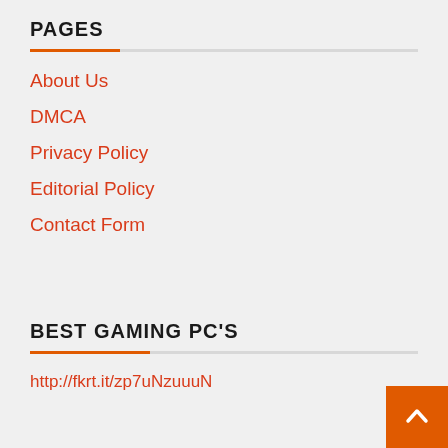PAGES
About Us
DMCA
Privacy Policy
Editorial Policy
Contact Form
BEST GAMING PC'S
http://fkrt.it/zp7uNzuuuN